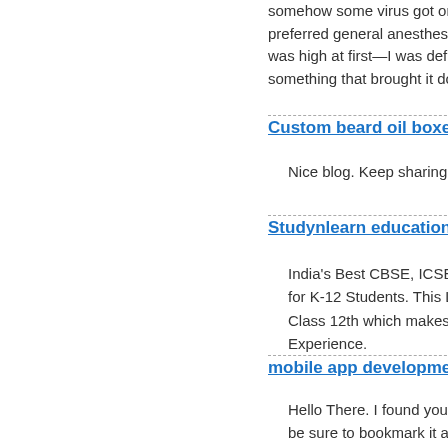somehow some virus got on it, it preferred general anesthesia I thi... was high at first—I was definitely something that brought it down.
Custom beard oil boxes // Feb 1
Nice blog. Keep sharing with us.
Studynlearn education // Feb 22
India's Best CBSE, ICSE, State B for K-12 Students. This Learning Class 12th which makes Concept Experience.
mobile app development gues...
Hello There. I found your blog us be sure to bookmark it and come Thanks for the post. I will definite